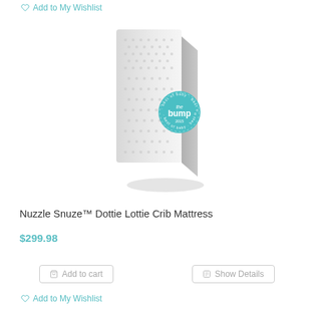Add to My Wishlist
[Figure (photo): White crib mattress with dotted pattern standing upright at an angle, with a teal 'best of baby - the bump 2015' award seal overlaid on it]
Nuzzle Snuze™ Dottie Lottie Crib Mattress
$299.98
Add to cart
Show Details
Add to My Wishlist